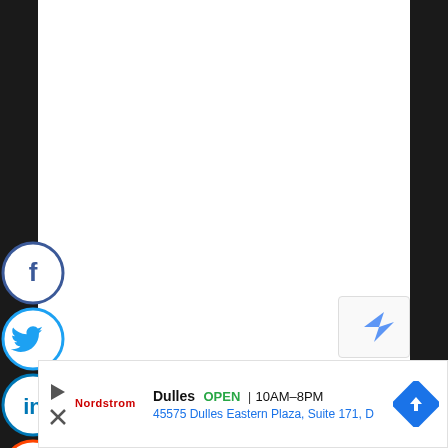[Figure (infographic): Social media sharing sidebar with 5 circular icons: Facebook (blue, white f), Twitter (blue, white bird), LinkedIn (blue, white 'in'), Reddit (orange/white alien), Email (gray, envelope). Stacked vertically on the left edge of the page.]
[Figure (infographic): reCAPTCHA widget partially visible in lower right corner with blue arrow/shield icon.]
[Figure (infographic): Google ad bar at bottom: navigation play/X icons, Nordstrom brand logo, store name Dulles, OPEN status, hours 10AM-8PM, address 45575 Dulles Eastern Plaza Suite 171 D, blue diamond directions icon.]